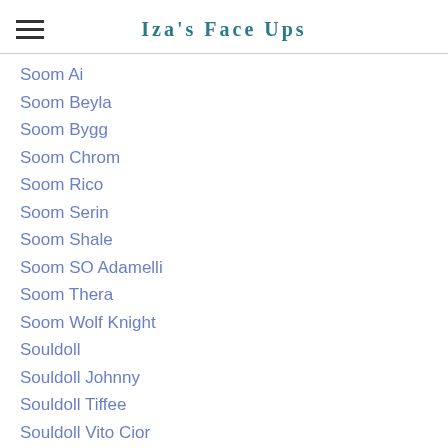Iza's Face Ups
Soom Ai
Soom Beyla
Soom Bygg
Soom Chrom
Soom Rico
Soom Serin
Soom Shale
Soom SO Adamelli
Soom Thera
Soom Wolf Knight
Souldoll
Souldoll Johnny
Souldoll Tiffee
Souldoll Vito Cior
Souldoll Vito Han
Souldoll Vito Lester
Souldoll Vito Rouse
[Figure (illustration): Teal circular scroll-to-top button with upward chevron arrow]